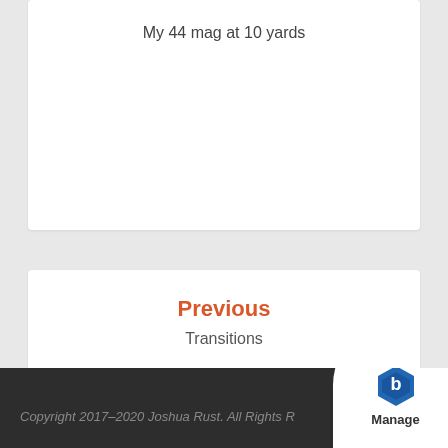My 44 mag at 10 yards
Previous
Transitions
Next
Dining Out: Riverside Korean Restaurant
Copyright 2017–2020 Joshua Rust. All Rights Reserved